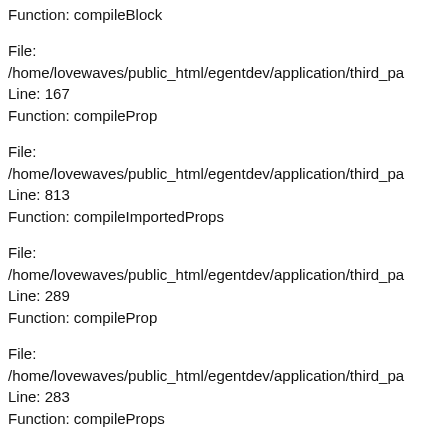Function: compileBlock
File:
/home/lovewaves/public_html/egentdev/application/third_pa
Line: 167
Function: compileProp
File:
/home/lovewaves/public_html/egentdev/application/third_pa
Line: 813
Function: compileImportedProps
File:
/home/lovewaves/public_html/egentdev/application/third_pa
Line: 289
Function: compileProp
File:
/home/lovewaves/public_html/egentdev/application/third_pa
Line: 283
Function: compileProps
File:
/home/lovewaves/public_html/egentdev/application/third_pa
Line: 198
Function: compilePost